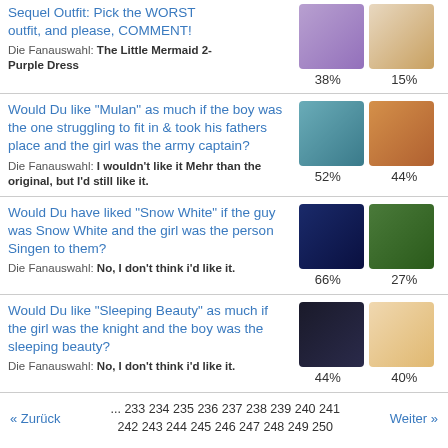Sequel Outfit: Pick the WORST outfit, and please, COMMENT!
Die Fanauswahl: The Little Mermaid 2-Purple Dress
[Figure (photo): Two Disney character images with percentages 38% and 15%]
Would Du like "Mulan" as much if the boy was the one struggling to fit in & took his fathers place and the girl was the army captain? Die Fanauswahl: I wouldn't like it Mehr than the original, but I'd still like it. | 52% | 44%
Would Du have liked "Snow White" if the guy was Snow White and the girl was the person Singen to them? Die Fanauswahl: No, I don't think i'd like it. | 66% | 27%
Would Du like "Sleeping Beauty" as much if the girl was the knight and the boy was the sleeping beauty? Die Fanauswahl: No, I don't think i'd like it. | 44% | 40%
« Zurück ... 233 234 235 236 237 238 239 240 241 242 243 244 245 246 247 248 249 250 Weiter »